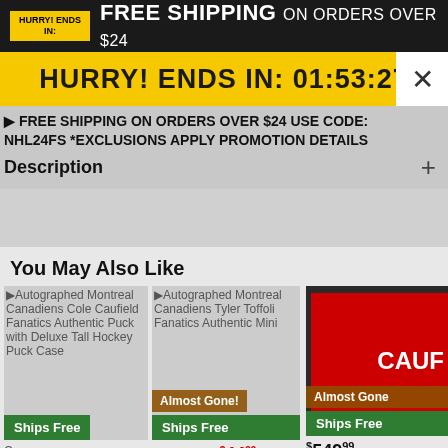HURRY! ENDS IN:  FREE SHIPPING ON ORDERS OVER $24
HURRY! ENDS IN: 01:53:27
FREE SHIPPING ON ORDERS OVER $24 USE CODE: NHL24FS *EXCLUSIONS APPLY PROMOTION DETAILS
Description +
You May Also Like
[Figure (screenshot): Product card: Autographed Montreal Canadiens Cole Caufield Fanatics Authentic Puck with Deluxe Tall Hockey Puck Case. Ships Free badge. Price: $99.99]
[Figure (screenshot): Product card: Autographed Montreal Canadiens Tyler Toffoli Fanatics Authentic Mini Hockey Stick. Almost Gone! badge, Ships Free badge. Reduced: $44.99, Regular: $89.99]
[Figure (photo): Product card: Autographed Montreal Canadiens jersey (CAUF visible). Almost Gone! badge, Ships Free badge. Price: $549.99]